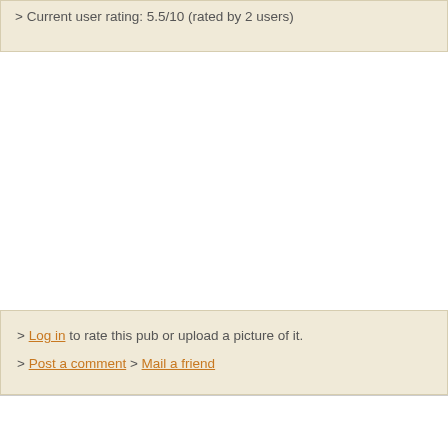> Current user rating: 5.5/10 (rated by 2 users)
> Log in to rate this pub or upload a picture of it.
> Post a comment > Mail a friend